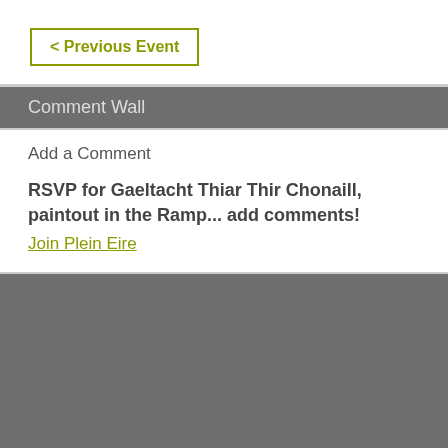< Previous Event
Comment Wall
Add a Comment
RSVP for Gaeltacht Thiar Thir Chonaill, paintout in the Ramp... add comments!
Join Plein Eire